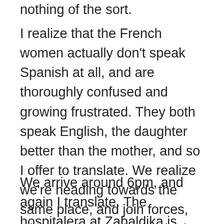nothing of the sort.
I realize that the French women actually don't speak Spanish at all, and are thoroughly confused and growing frustrated. They both speak English, the daughter better than the mother, and so I offer to translate. We realize we're heading towards the same place, and join forces, with Dorcinda in the lead. The mother is exhausted, grumpy, while the daughter is somewhere between cheerful and sarcastic, with more energy to spare. They meant to stop at Larrasoana but missed the turnoff at the bridge and walked right on by. It was a long way to go for the mistake.
We arrive around 6pm, and again I translate. The hospitalera at Zabaldika is fussy, repeats herself several times, and consults with the nuns on what to